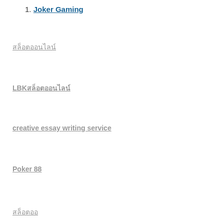1. Joker Gaming
สล็อตออนไลน์
LBKสล็อตออนไลน์
creative essay writing service
Poker 88
สล็อตออ